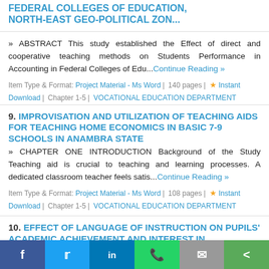FEDERAL COLLEGES OF EDUCATION, NORTH-EAST GEO-POLITICAL ZON...
» ABSTRACT This study established the Effect of direct and cooperative teaching methods on Students Performance in Accounting in Federal Colleges of Edu...Continue Reading »
Item Type & Format: Project Material - Ms Word | 140 pages | ★ Instant Download | Chapter 1-5 | VOCATIONAL EDUCATION DEPARTMENT
9. IMPROVISATION AND UTILIZATION OF TEACHING AIDS FOR TEACHING HOME ECONOMICS IN BASIC 7-9 SCHOOLS IN ANAMBRA STATE
» CHAPTER ONE INTRODUCTION Background of the Study Teaching aid is crucial to teaching and learning processes. A dedicated classroom teacher feels satis...Continue Reading »
Item Type & Format: Project Material - Ms Word | 108 pages | ★ Instant Download | Chapter 1-5 | VOCATIONAL EDUCATION DEPARTMENT
10. EFFECT OF LANGUAGE OF INSTRUCTION ON PUPILS' ACADEMIC ACHIEVEMENT AND INTEREST IN